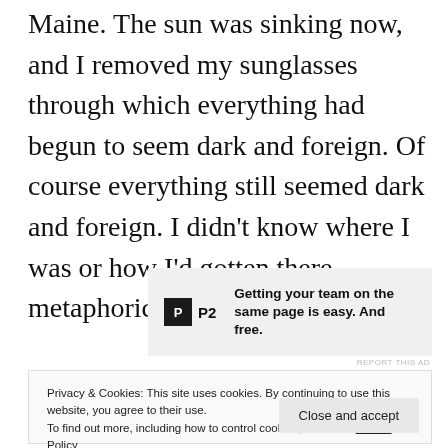Maine. The sun was sinking now, and I removed my sunglasses through which everything had begun to seem dark and foreign. Of course everything still seemed dark and foreign. I didn't know where I was or how I'd gotten there, metaphorically or otherwise.
[Figure (other): Advertisement banner for P2 with logo and tagline: Getting your team on the same page is easy. And free.]
REPORT THIS AD
Privacy & Cookies: This site uses cookies. By continuing to use this website, you agree to their use. To find out more, including how to control cookies, see here: Cookie Policy
Close and accept